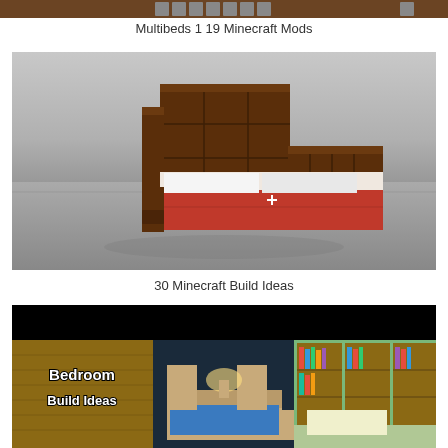[Figure (screenshot): Top strip of a Minecraft-themed image showing a dark brown interface row with icons]
Multibeds 1 19 Minecraft Mods
[Figure (screenshot): Minecraft 3D render of a double bed with dark wooden headboard and footboard, red and white bedding, on a grey floor with grey wall background]
30 Minecraft Build Ideas
[Figure (screenshot): Minecraft YouTube thumbnail collage: black background with three panels showing Bedroom Build Ideas text on wooden background, a blue-lit bedroom interior, and a bookshelf room interior]